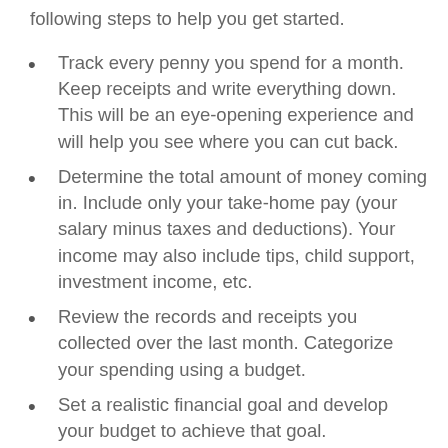following steps to help you get started.
Track every penny you spend for a month. Keep receipts and write everything down. This will be an eye-opening experience and will help you see where you can cut back.
Determine the total amount of money coming in. Include only your take-home pay (your salary minus taxes and deductions). Your income may also include tips, child support, investment income, etc.
Review the records and receipts you collected over the last month. Categorize your spending using a budget.
Set a realistic financial goal and develop your budget to achieve that goal.